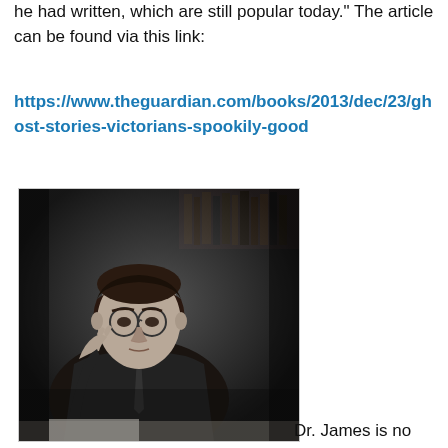he had written, which are still popular today." The article can be found via this link:
https://www.theguardian.com/books/2013/dec/23/ghost-stories-victorians-spookily-good
[Figure (photo): Black and white portrait photograph of a man in a suit, sitting with his hand raised to his head, with bookshelves visible in the background.]
Dr. James is no